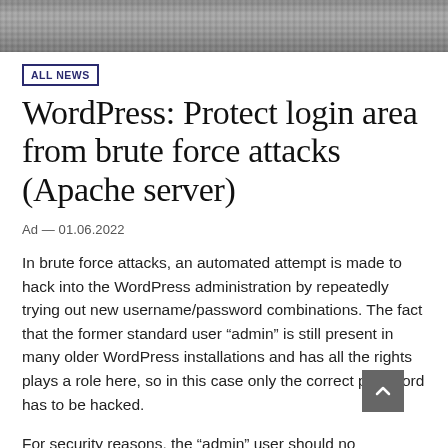[Figure (photo): Partial photo at the top of the page showing a rocky or textured surface in grayscale]
ALL NEWS
WordPress: Protect login area from brute force attacks (Apache server)
Ad — 01.06.2022
In brute force attacks, an automated attempt is made to hack into the WordPress administration by repeatedly trying out new username/password combinations. The fact that the former standard user “admin” is still present in many older WordPress installations and has all the rights plays a role here, so in this case only the correct password has to be hacked.
For security reasons, the “admin” user should no